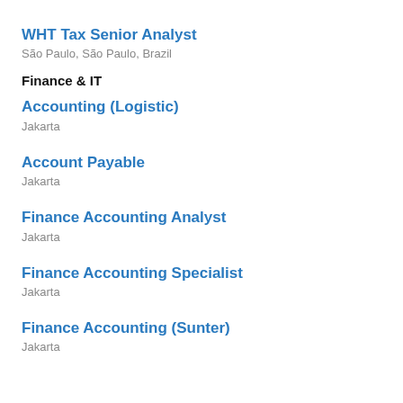WHT Tax Senior Analyst
São Paulo, São Paulo, Brazil
Finance & IT
Accounting (Logistic)
Jakarta
Account Payable
Jakarta
Finance Accounting Analyst
Jakarta
Finance Accounting Specialist
Jakarta
Finance Accounting (Sunter)
Jakarta